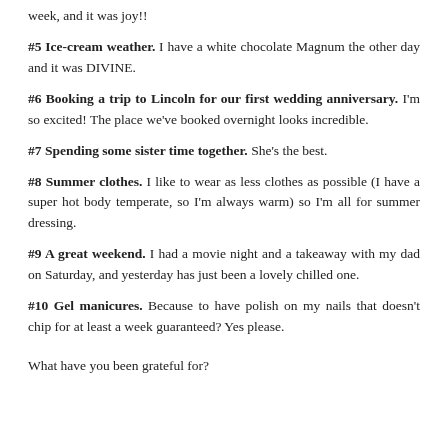week, and it was joy!!
#5 Ice-cream weather. I have a white chocolate Magnum the other day and it was DIVINE.
#6 Booking a trip to Lincoln for our first wedding anniversary. I'm so excited! The place we've booked overnight looks incredible.
#7 Spending some sister time together. She's the best.
#8 Summer clothes. I like to wear as less clothes as possible (I have a super hot body temperate, so I'm always warm) so I'm all for summer dressing.
#9 A great weekend. I had a movie night and a takeaway with my dad on Saturday, and yesterday has just been a lovely chilled one.
#10 Gel manicures. Because to have polish on my nails that doesn't chip for at least a week guaranteed? Yes please.
What have you been grateful for?